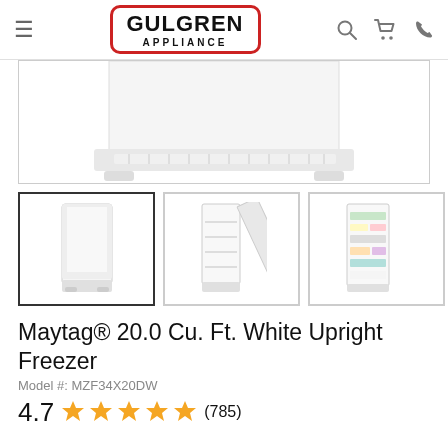Gulgren Appliance
[Figure (photo): Close-up bottom portion of a white upright freezer appliance with ventilation grille]
[Figure (photo): Thumbnail 1: Full white upright freezer, closed door (selected/active)]
[Figure (photo): Thumbnail 2: White upright freezer with door open showing empty interior shelves]
[Figure (photo): Thumbnail 3: White upright freezer with door open showing contents/food inside]
Maytag® 20.0 Cu. Ft. White Upright Freezer
Model #: MZF34X20DW
4.7 ★★★★★ (785)